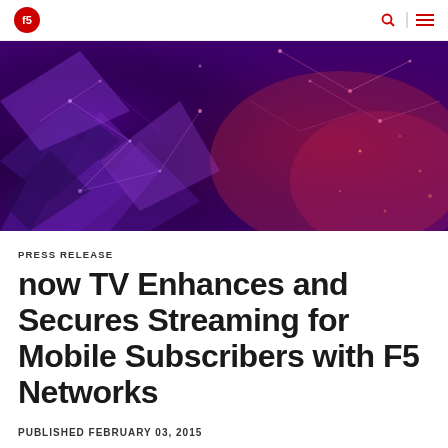F5 Networks logo and navigation icons
[Figure (illustration): Abstract dark purple and pink digital network/polygon geometric background banner image]
PRESS RELEASE
now TV Enhances and Secures Streaming for Mobile Subscribers with F5 Networks
PUBLISHED FEBRUARY 03, 2015